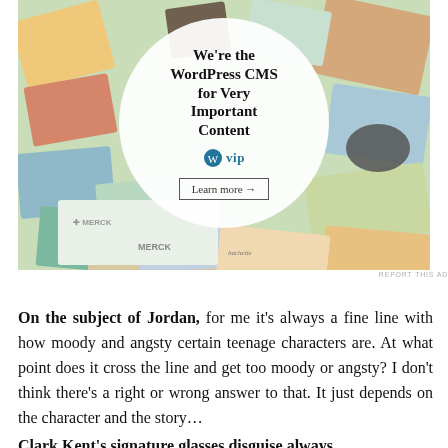[Figure (illustration): Advertisement banner for WordPress VIP CMS showing multiple colorful cards/magazine covers in the background with a white circle overlay containing the text 'We're the WordPress CMS for Very Important Content' with the WordPress VIP logo and a 'Learn more' button. A small 'REPORT THIS AD' label appears below.]
On the subject of Jordan, for me it's always a fine line with how moody and angsty certain teenage characters are. At what point does it cross the line and get too moody or angsty? I don't think there's a right or wrong answer to that. It just depends on the character and the story…
Clark Kent's signature glasses disguise always